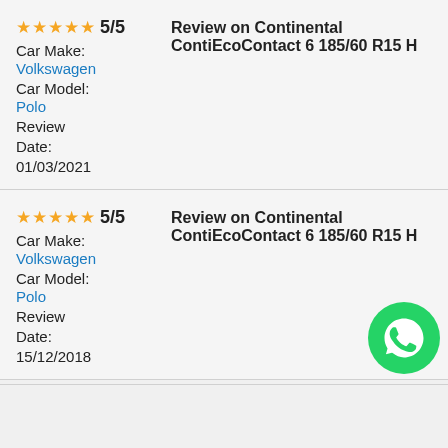★★★★★ 5/5
Car Make:
Volkswagen
Car Model:
Polo
Review Date:
01/03/2021
Review on Continental ContiEcoContact 6 185/60 R15 H
★★★★★ 5/5
Car Make:
Volkswagen
Car Model:
Polo
Review Date:
15/12/2018
Review on Continental ContiEcoContact 6 185/60 R15 H
[Figure (logo): WhatsApp green circular logo icon]